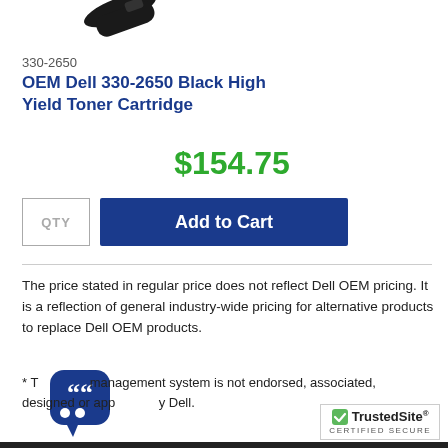[Figure (photo): Partial view of a black toner cartridge at top of page]
330-2650
OEM Dell 330-2650 Black High Yield Toner Cartridge
$154.75
QTY   Add to Cart
The price stated in regular price does not reflect Dell OEM pricing. It is a reflection of general industry-wide pricing for alternative products to replace Dell OEM products.
* T[he toner] management system is not endorsed, associated, designed or app[roved b]y Dell.
[Figure (logo): TrustedSite certified secure badge with chat bubble icon]